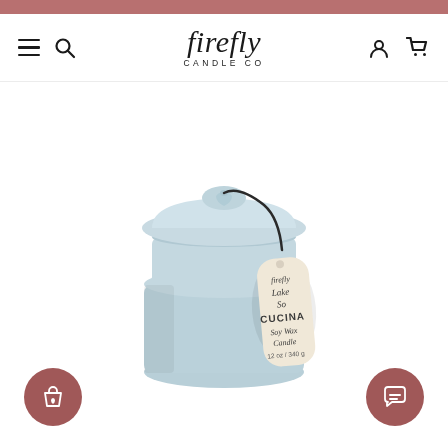firefly CANDLE CO — Navigation header with menu, search, logo, account, cart icons
[Figure (photo): A light blue ceramic candle jar with a heart-shaped lid knob and a dark leather cord holding a cream-colored tag. The tag reads: firefly, Lake So, CUCINA, Soy Wax Candle, 12 oz / 340 g. Product is set against a white background.]